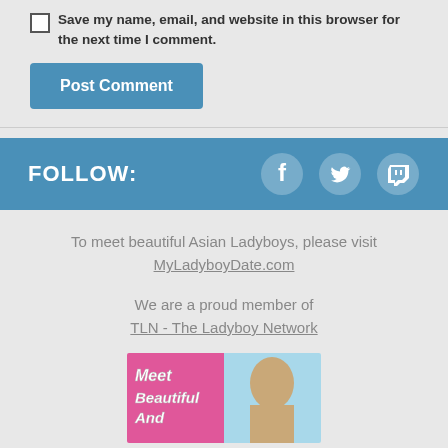Save my name, email, and website in this browser for the next time I comment.
Post Comment
FOLLOW:
[Figure (infographic): Social media icons: Facebook, Twitter, Twitch on blue bar]
To meet beautiful Asian Ladyboys, please visit MyLadyboyDate.com
We are a proud member of TLN - The Ladyboy Network
[Figure (photo): Banner image with text 'Meet Beautiful And' on pink background with a couple]